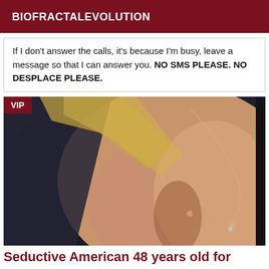BIOFRACTALEVOLUTION
If I don't answer the calls, it's because I'm busy, leave a message so that I can answer you. NO SMS PLEASE. NO DESPLACE PLEASE.
[Figure (photo): Close-up photo of a woman wearing a dark top and a delicate silver chain necklace, with blonde hair visible. A VIP badge is shown in the top-left corner.]
Seductive American 48 years old for